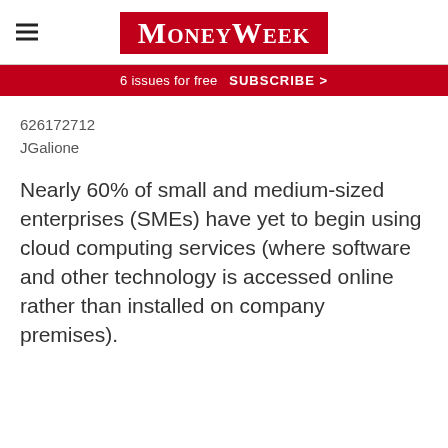MoneyWeek
6 issues for free   SUBSCRIBE >
626172712
JGalione
Nearly 60% of small and medium-sized enterprises (SMEs) have yet to begin using cloud computing services (where software and other technology is accessed online rather than installed on company premises).